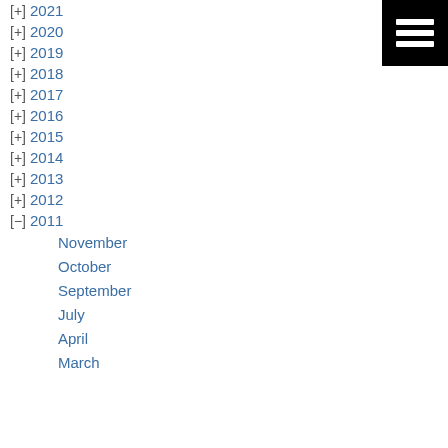[+] 2021
[+] 2020
[+] 2019
[+] 2018
[+] 2017
[+] 2016
[+] 2015
[+] 2014
[+] 2013
[+] 2012
[-] 2011
November
October
September
July
April
March
[Figure (other): Menu icon - black square with three horizontal white bars]